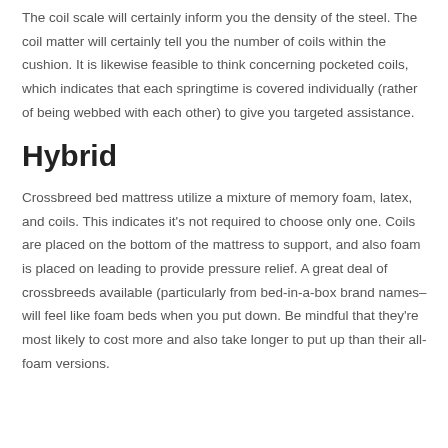The coil scale will certainly inform you the density of the steel. The coil matter will certainly tell you the number of coils within the cushion. It is likewise feasible to think concerning pocketed coils, which indicates that each springtime is covered individually (rather of being webbed with each other) to give you targeted assistance.
Hybrid
Crossbreed bed mattress utilize a mixture of memory foam, latex, and coils. This indicates it's not required to choose only one. Coils are placed on the bottom of the mattress to support, and also foam is placed on leading to provide pressure relief. A great deal of crossbreeds available (particularly from bed-in-a-box brand names– will feel like foam beds when you put down. Be mindful that they're most likely to cost more and also take longer to put up than their all-foam versions.